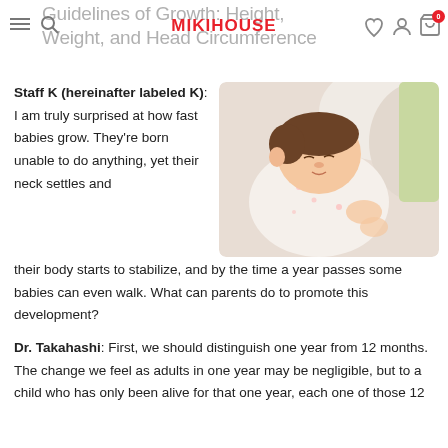Guidelines of Growth: Height, Weight, and Head Circumference
Staff K (hereinafter labeled K): I am truly surprised at how fast babies grow. They're born unable to do anything, yet their neck settles and their body starts to stabilize, and by the time a year passes some babies can even walk. What can parents do to promote this development?
[Figure (photo): A sleeping newborn baby lying on a white cushion, wearing a white floral outfit.]
Dr. Takahashi: First, we should distinguish one year from 12 months. The change we feel as adults in one year may be negligible, but to a child who has only been alive for that one year, each one of those 12